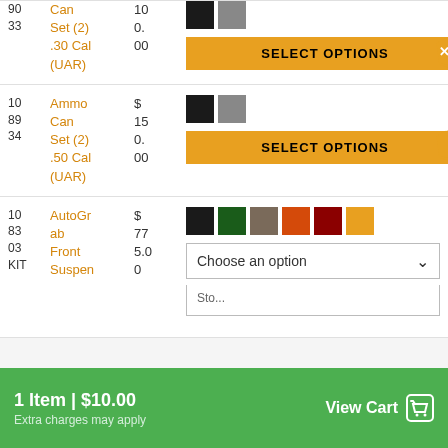| ID | Product | Price | Options |
| --- | --- | --- | --- |
| 10
90
33 | Can Set (2) .30 Cal (UAR) | 10
0.
00 | SELECT OPTIONS |
| 10
89
34 | Ammo Can Set (2) .50 Cal (UAR) | $
15
0.
00 | SELECT OPTIONS |
| 10
83
03
KIT | AutoGrab Front Suspen... | $
77
5.0
0 | Choose an option |
1 Item | $10.00
Extra charges may apply
View Cart